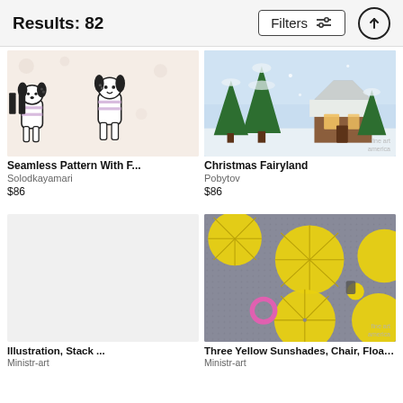Results: 82
Filters
[Figure (illustration): Cartoon seamless pattern with dogs wearing striped shirts on light background]
Seamless Pattern With F...
Solodkayamari
$86
[Figure (illustration): Christmas fairyland winter scene with snow-covered cabin and fir trees]
Christmas Fairyland
Pobytov
$86
[Figure (photo): Overhead view of yellow umbrellas/sunshades with a pink circle and chair on grey surface]
Illustration, Stack ...
Three Yellow Sunshades, Chair, Floating